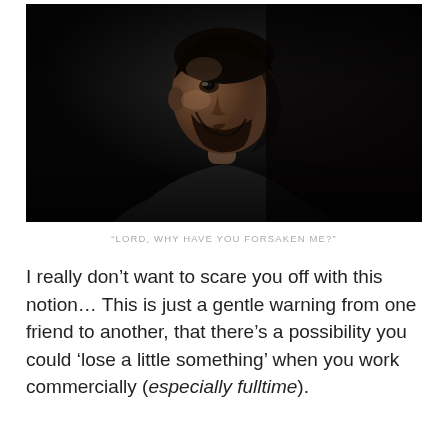[Figure (photo): Black and white dramatic portrait photograph of a bearded man with dark skin looking upward against a very dark background, wearing an open collared shirt.]
“LORD, WHY HAVE YOU FORSAKEN ME?”
I really don’t want to scare you off with this notion… This is just a gentle warning from one friend to another, that there’s a possibility you could ‘lose a little something’ when you work commercially (especially fulltime).